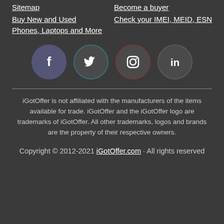Sitemap
Buy New and Used Phones, Laptops and More
Become a buyer
Check your IMEI, MEID, ESN
[Figure (infographic): Four social media icons in dark circles: Facebook (f), Twitter (bird), Instagram (camera), LinkedIn (in)]
iGotOffer is not affiliated with the manufacturers of the items available for trade. iGotOffer and the iGotOffer logo are trademarks of iGotOffer. All other trademarks, logos and brands are the property of their respective owners.
Copyright © 2012-2021 iGotOffer.com · All rights reserved